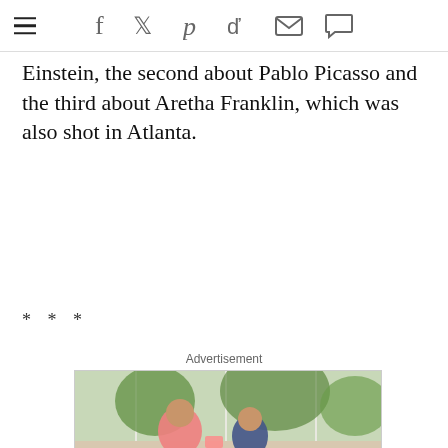social share icons: facebook, twitter, pinterest, reddit, mail, comment
Einstein, the second about Pablo Picasso and the third about Aretha Franklin, which was also shot in Atlanta.
* * *
Advertisement
[Figure (photo): Champion Windows advertisement: photo of a man and woman playing cards near windows, with yellow panel showing 'BUY 2 WINDOWS GET 2 FREE*' and white panel showing 'IT’S OUR BEST WINDOW SALE!' with Champion Windows logo and 'SCHEDULE YOUR' button]